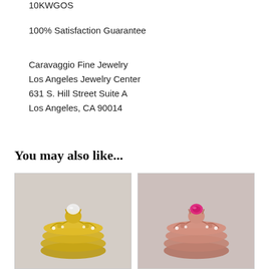10KWGOS
100% Satisfaction Guarantee
Caravaggio Fine Jewelry
Los Angeles Jewelry Center
631 S. Hill Street Suite A
Los Angeles, CA 90014
You may also like...
[Figure (photo): Two ornate yellow gold rings stacked together with a round white diamond center stone and intricate filigree band design]
[Figure (photo): Two ornate rose gold rings stacked together with a round pink/ruby center stone and intricate filigree band design]